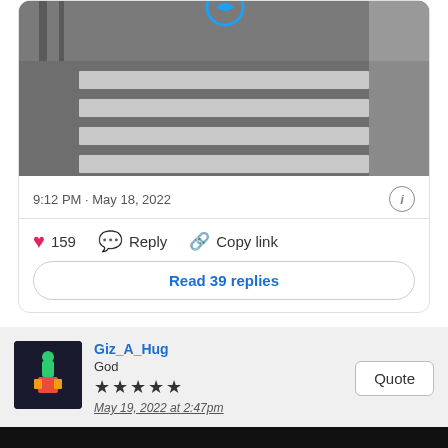[Figure (photo): Grayscale overhead/surveillance camera view of a street crosswalk with zebra stripes, showing the road surface and crosswalk markings. A circular logo icon is visible at the top center.]
9:12 PM · May 18, 2022
❤ 159  Reply  Copy link
Read 39 replies
Giz_A_Hug
God
★★★★★
May 19, 2022 at 2:47pm